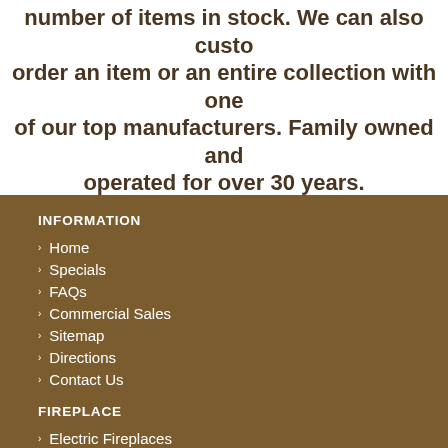number of items in stock. We can also custom order an item or an entire collection with one of our top manufacturers. Family owned and operated for over 30 years.
INFORMATION
Home
Specials
FAQs
Commercial Sales
Sitemap
Directions
Contact Us
FIREPLACE
Electric Fireplaces